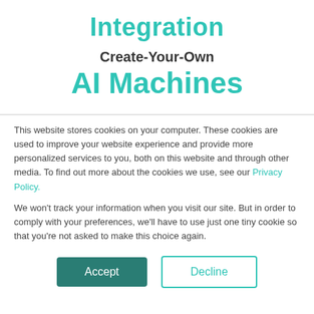Integration
Create-Your-Own
AI Machines
This website stores cookies on your computer. These cookies are used to improve your website experience and provide more personalized services to you, both on this website and through other media. To find out more about the cookies we use, see our Privacy Policy.
We won't track your information when you visit our site. But in order to comply with your preferences, we'll have to use just one tiny cookie so that you're not asked to make this choice again.